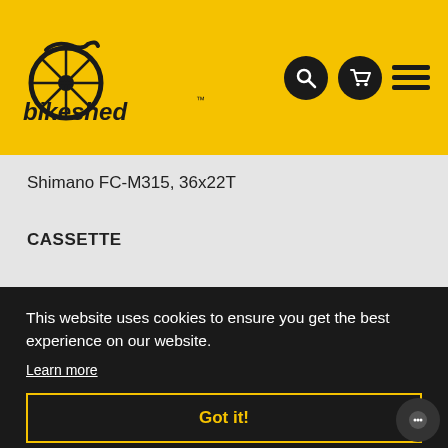[Figure (logo): Bikeshed logo with bicycle wheel icon and 'bikeshed' text in black on yellow background]
Shimano FC-M315, 36x22T
CASSETTE
Shimano CS-HG31, 11-34T
CHAIN
This website uses cookies to ensure you get the best experience on our website.
Learn more
Got it!
REAR HUB